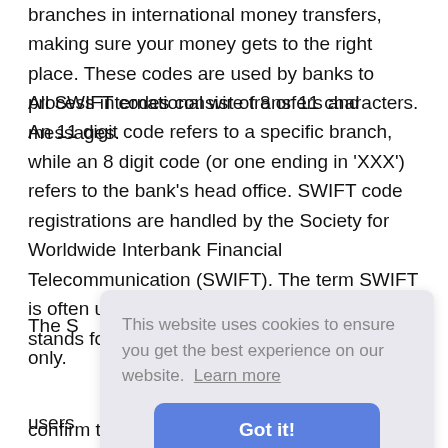branches in international money transfers, making sure your money gets to the right place. These codes are used by banks to process international wire transfers and messages.
All SWIFT codes consist of 8 or 11 characters. An 11 digit code refers to a specific branch, while an 8 digit code (or one ending in 'XXX') refers to the bank's head office. SWIFT code registrations are handled by the Society for Worldwide Interbank Financial Telecommunication (SWIFT). The term SWIFT is often used interchangeably with BIC, which stands for Bank Identifier Code.
The S only. users what confirm the correct bank account information. If you are
[Figure (screenshot): Cookie consent modal overlay with text: 'This website uses cookies to ensure you get the best experience on our website. Learn more' and a blue 'Got it!' button.]